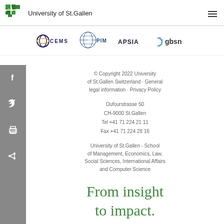University of St.Gallen
[Figure (logo): Partner logos row: CEMS, PIM, APSIA, gbsn]
© Copyright 2022 University of St.Gallen Switzerland · General legal information · Privacy Policy
Dufourstrasse 50
CH-9000 St.Gallen
Tel +41 71 224 21 11
Fax +41 71 224 28 16
University of St.Gallen - School of Management, Economics, Law, Social Sciences, International Affairs and Computer Science
From insight to impact.